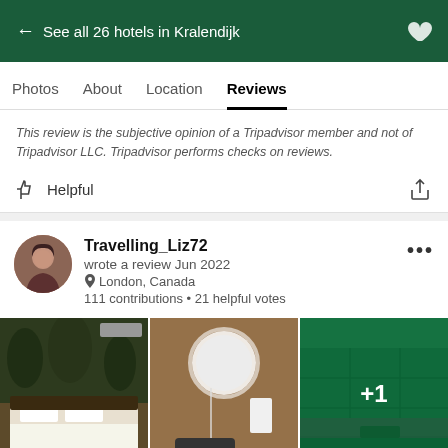← See all 26 hotels in Kralendijk
Reviews (active tab), Photos, About, Location
This review is the subjective opinion of a Tripadvisor member and not of Tripadvisor LLC. Tripadvisor performs checks on reviews.
Helpful
Travelling_Liz72
wrote a review Jun 2022
London, Canada
111 contributions • 21 helpful votes
[Figure (photo): Three hotel room photos: bedroom with tropical wallpaper and white bed, bathroom with round mirror and glass shower, green-tiled kitchen area with +1 overlay]